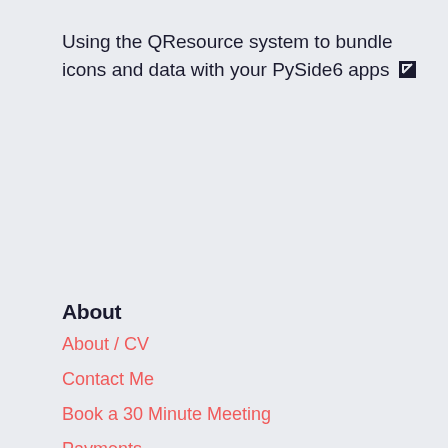Using the QResource system to bundle icons and data with your PySide6 apps ↗
About
About / CV
Contact Me
Book a 30 Minute Meeting
Payments